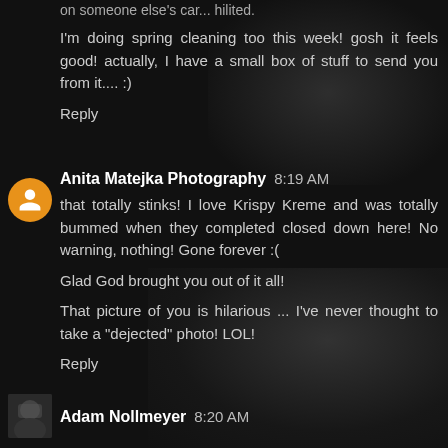on someone else's car... hilited.
I'm doing spring cleaning too this week! gosh it feels good! actually, I have a small box of stuff to send you from it.... :)
Reply
Anita Matejka Photography  8:19 AM
that totally stinks! I love Krispy Kreme and was totally bummed when they completed closed down here! No warning, nothing! Gone forever :(
Glad God brought you out of it all!
That picture of you is hilarious ... I've never thought to take a "dejected" photo! LOL!
Reply
Adam Nollmeyer  8:20 AM